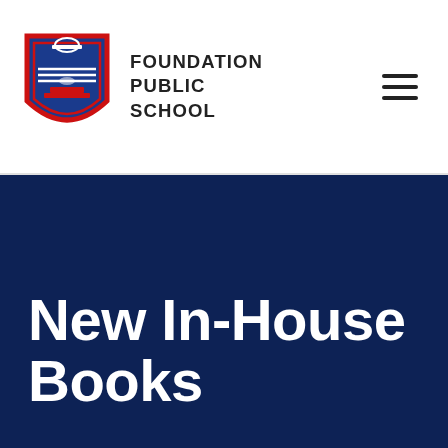[Figure (logo): Foundation Public School shield logo with red border and blue interior]
FOUNDATION PUBLIC SCHOOL
New In-House Books